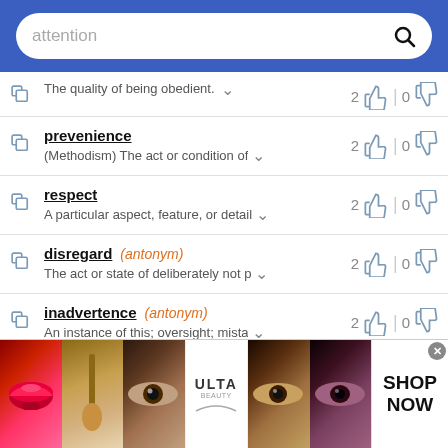[Figure (screenshot): Search bar with 'attention' placeholder text on blue background]
The quality of being obedient. [vote: 2 up, 0 down]
prevenience — (Methodism) The act or condition of... [vote: 2 up, 0 down]
respect — A particular aspect, feature, or detail [vote: 2 up, 0 down]
disregard (antonym) — The act or state of deliberately not p... [vote: 2 up, 0 down]
inadvertence (antonym) — An instance of this; oversight; mista... [vote: 2 up, 0 down]
slight (antonym) [vote: 2 up, 0 down]
[Figure (photo): ULTA beauty advertisement banner with makeup images and SHOP NOW call to action]